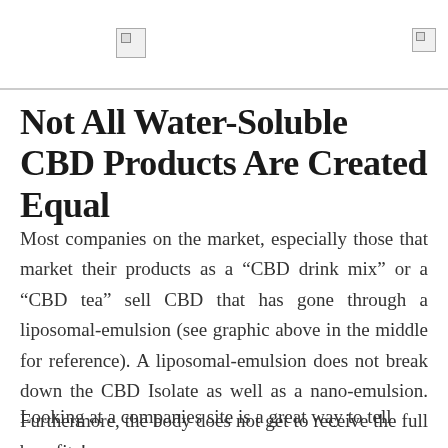[logo images]
Not All Water-Soluble CBD Products Are Created Equal
Most companies on the market, especially those that market their products as a “CBD drink mix” or a “CBD tea” sell CBD that has gone through a liposomal-emulsion (see graphic above in the middle for reference). A liposomal-emulsion does not break down the CBD Isolate as well as a nano-emulsion. Furthermore, the body does not get to receive the full benefits!
Looking at a companies site is a great way to tell